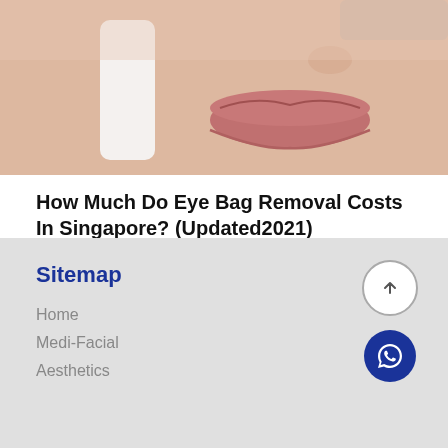[Figure (photo): Close-up photo of a woman's lower face, lips slightly parted, with a white skincare device held near her cheek. She appears to be wearing glasses.]
How Much Do Eye Bag Removal Costs In Singapore? (Updated2021)
posted on March 24, 2021
Sitemap
Home
Medi-Facial
Aesthetics